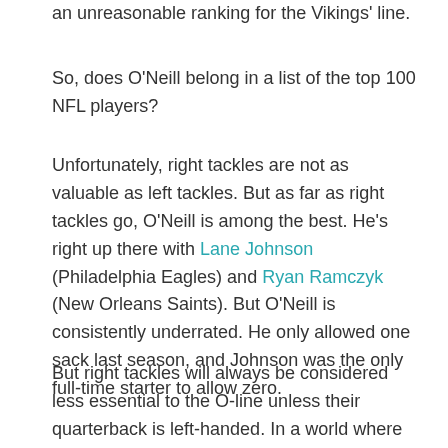an unreasonable ranking for the Vikings' line.
So, does O'Neill belong in a list of the top 100 NFL players?
Unfortunately, right tackles are not as valuable as left tackles. But as far as right tackles go, O'Neill is among the best. He's right up there with Lane Johnson (Philadelphia Eagles) and Ryan Ramczyk (New Orleans Saints). But O'Neill is consistently underrated. He only allowed one sack last season, and Johnson was the only full-time starter to allow zero.
But right tackles will always be considered less essential to the O-line unless their quarterback is left-handed. In a world where every position has equal value, there's a good chance O'Neill could make a top 100 list. He'd at least be an honorable mention. But that's not the case.